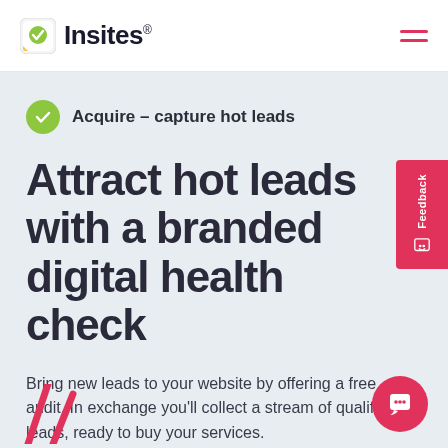Insites®
Acquire – capture hot leads
Attract hot leads with a branded digital health check
Bring new leads to your website by offering a free audit. In exchange you'll collect a stream of qualified leads, ready to buy your services.